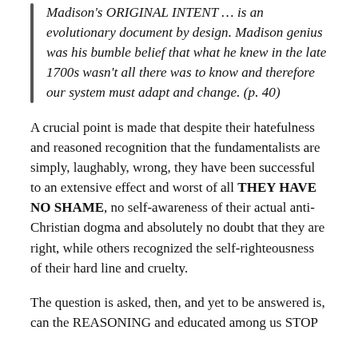Madison's ORIGINAL INTENT … is an evolutionary document by design. Madison genius was his bumble belief that what he knew in the late 1700s wasn't all there was to know and therefore our system must adapt and change. (p. 40)
A crucial point is made that despite their hatefulness and reasoned recognition that the fundamentalists are simply, laughably, wrong, they have been successful to an extensive effect and worst of all THEY HAVE NO SHAME, no self-awareness of their actual anti-Christian dogma and absolutely no doubt that they are right, while others recognized the self-righteousness of their hard line and cruelty.
The question is asked, then, and yet to be answered is, can the REASONING and educated among us STOP